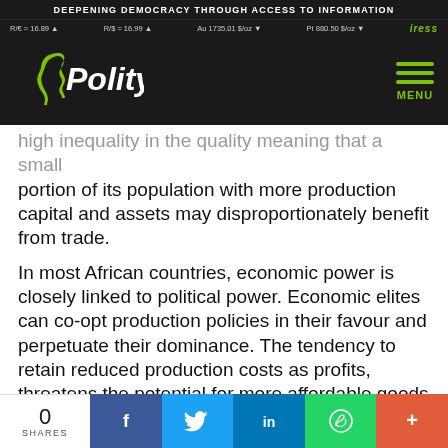DEEPENING DEMOCRACY THROUGH ACCESS TO INFORMATION
R/€ = 16.89 ▲  R/$ = 16.99 ▲  Au 1735.01 $/oz ▼  Pt 880.50 $/oz ▼  iress
[Figure (logo): Polity logo with Africa continent silhouette in green on dark background]
portion of its population with more production capital and assets may disproportionately benefit from trade.
In most African countries, economic power is closely linked to political power. Economic elites can co-opt production policies in their favour and perpetuate their dominance. The tendency to retain reduced production costs as profits, threatens the potential for more affordable goods for consumers.